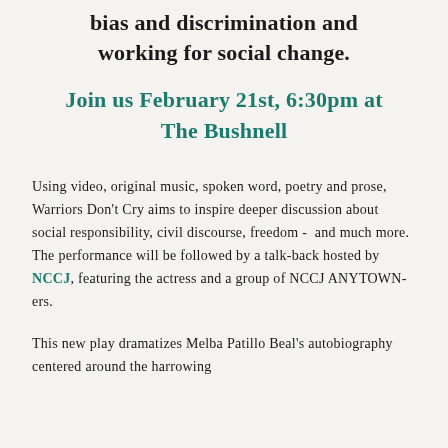bias and discrimination and working for social change.
Join us February 21st, 6:30pm at The Bushnell
Using video, original music, spoken word, poetry and prose, Warriors Don't Cry aims to inspire deeper discussion about social responsibility, civil discourse, freedom -  and much more. The performance will be followed by a talk-back hosted by NCCJ, featuring the actress and a group of NCCJ ANYTOWN-ers.
This new play dramatizes Melba Patillo Beal's autobiography centered around the harrowing